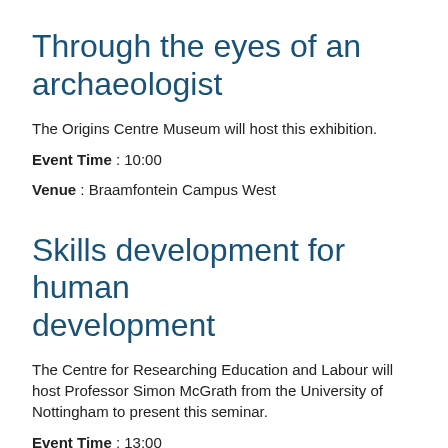Through the eyes of an archaeologist
The Origins Centre Museum will host this exhibition.
Event Time : 10:00
Venue : Braamfontein Campus West
Skills development for human development
The Centre for Researching Education and Labour will host Professor Simon McGrath from the University of Nottingham to present this seminar.
Event Time : 13:00